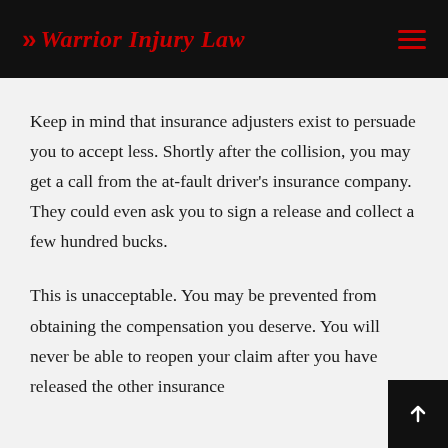>> Warrior Injury Law
Keep in mind that insurance adjusters exist to persuade you to accept less. Shortly after the collision, you may get a call from the at-fault driver's insurance company. They could even ask you to sign a release and collect a few hundred bucks.
This is unacceptable. You may be prevented from obtaining the compensation you deserve. You will never be able to reopen your claim after you have released the other insurance